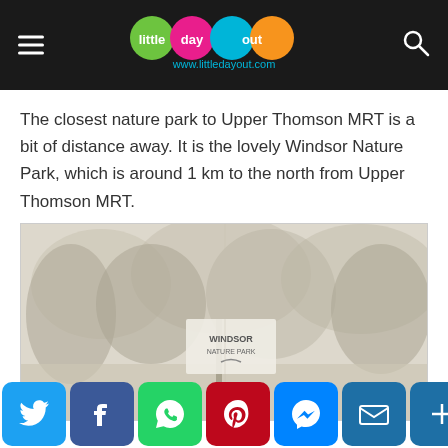little day out — www.littledayout.com
The closest nature park to Upper Thomson MRT is a bit of distance away. It is the lovely Windsor Nature Park, which is around 1 km to the north from Upper Thomson MRT.
[Figure (photo): A faded outdoor photo showing trees and a Windsor Nature Park sign in the foreground]
[Figure (infographic): Social sharing buttons row: Twitter, Facebook, WhatsApp, Pinterest, Messenger, Email, More]